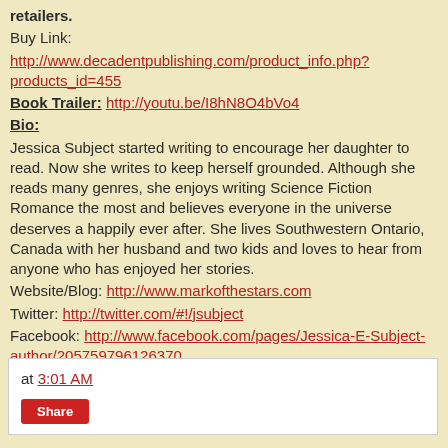retailers.
Buy Link:
http://www.decadentpublishing.com/product_info.php?products_id=455
Book Trailer: http://youtu.be/I8hN8O4bVo4
Bio:
Jessica Subject started writing to encourage her daughter to read. Now she writes to keep herself grounded. Although she reads many genres, she enjoys writing Science Fiction Romance the most and believes everyone in the universe deserves a happily ever after. She lives Southwestern Ontario, Canada with her husband and two kids and loves to hear from anyone who has enjoyed her stories.
Website/Blog: http://www.markofthestars.com
Twitter: http://twitter.com/#!/jsubject
Facebook: http://www.facebook.com/pages/Jessica-E-Subject-author/205759796126370
at 3:01 AM
Share